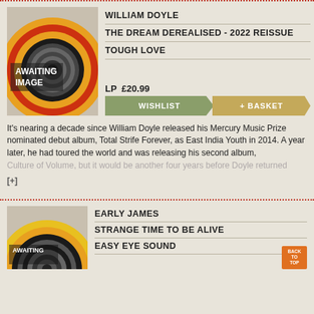[Figure (illustration): Awaiting image placeholder with concentric circles in orange, red, and black on grey background]
WILLIAM DOYLE
THE DREAM DEREALISED - 2022 REISSUE
TOUGH LOVE
LP  £20.99
WISHLIST
+ BASKET
It's nearing a decade since William Doyle released his Mercury Music Prize nominated debut album, Total Strife Forever, as East India Youth in 2014. A year later, he had toured the world and was releasing his second album, Culture of Volume, but it would be another four years before Doyle returned
[+]
[Figure (illustration): Awaiting image placeholder with concentric circles in orange, yellow, and black on grey background]
EARLY JAMES
STRANGE TIME TO BE ALIVE
EASY EYE SOUND